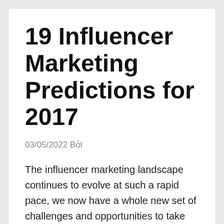19 Influencer Marketing Predictions for 2017
03/05/2022 Bởi
The influencer marketing landscape continues to evolve at such a rapid pace, we now have a whole new set of challenges and opportunities to take on. We asked 19 influencer marketing